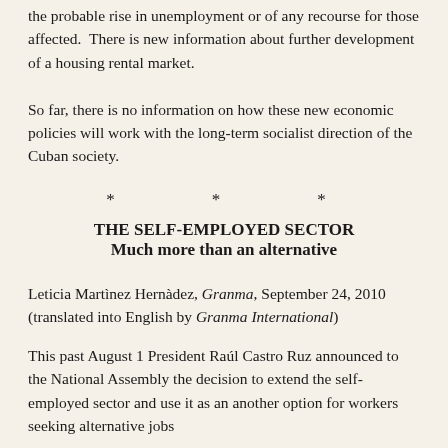the probable rise in unemployment or of any recourse for those affected.  There is new information about further development of a housing rental market.
So far, there is no information on how these new economic policies will work with the long-term socialist direction of the Cuban society.
* * *
THE SELF-EMPLOYED SECTOR
Much more than an alternative
Leticia Martìnez Hernàdez, Granma, September 24, 2010 (translated into English by Granma International)
This past August 1 President Raúl Castro Ruz announced to the National Assembly the decision to extend the self-employed sector and use it as an another option for workers seeking alternative jobs